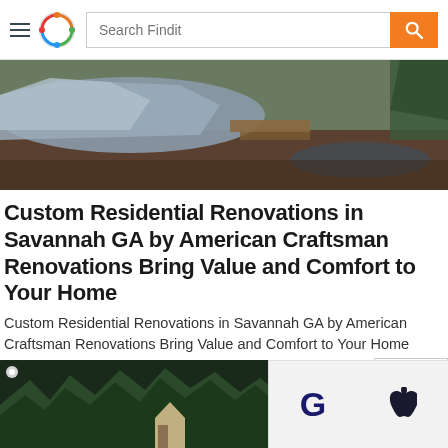Search Findit
[Figure (photo): Construction or renovation site with tarp-covered materials on muddy ground with trees in background]
Custom Residential Renovations in Savannah GA by American Craftsman Renovations Bring Value and Comfort to Your Home
Custom Residential Renovations in Savannah GA by American Craftsman Renovations Bring Value and Comfort to Your Home
Released On: 11/20/2021
Views: 4161
[Figure (photo): Outdoor photo showing trees and a house structure at the bottom of the page]